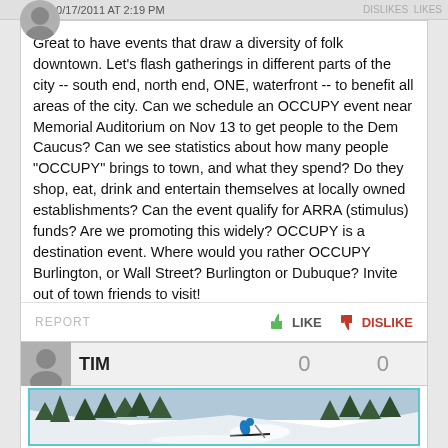10/17/2011 AT 2:19 PM   DISLIKES  LIKES
Great to have events that draw a diversity of folk downtown. Let's flash gatherings in different parts of the city -- south end, north end, ONE, waterfront -- to benefit all areas of the city. Can we schedule an OCCUPY event near Memorial Auditorium on Nov 13 to get people to the Dem Caucus? Can we see statistics about how many people "OCCUPY" brings to town, and what they spend? Do they shop, eat, drink and entertain themselves at locally owned establishments? Can the event qualify for ARRA (stimulus) funds? Are we promoting this widely? OCCUPY is a destination event. Where would you rather OCCUPY Burlington, or Wall Street? Burlington or Dubuque? Invite out of town friends to visit!
REPORT   LIKE   DISLIKE
TIM   0   0
[Figure (photo): A skier in a blue jacket carving through deep powder snow on a mountain slope surrounded by snow-covered trees]